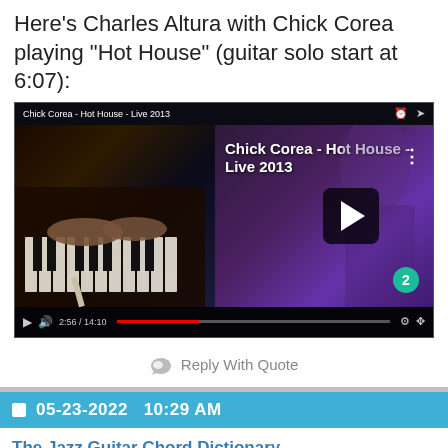Here's Charles Altura with Chick Corea playing "Hot House" (guitar solo start at 6:07):
[Figure (screenshot): YouTube video thumbnail screenshot showing 'Chick Corea - Hot House - Live 2013' with a piano being played, play button overlay, time showing 2:56/14:10, and a badge showing '2' in the bottom right.]
Reply With Quote
05-23-2022   10:29 AM
The Jazz Guitar Chord Dictionary